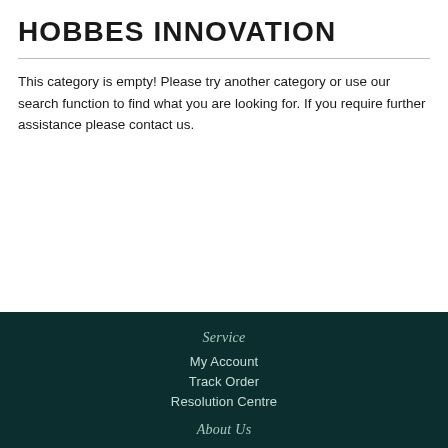HOBBES INNOVATION
This category is empty! Please try another category or use our search function to find what you are looking for. If you require further assistance please contact us.
Service
My Account
Track Order
Resolution Centre
About Us